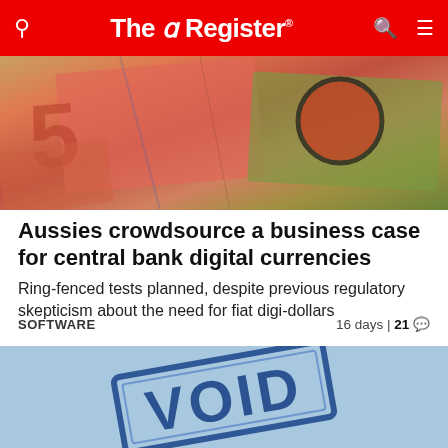The Register
[Figure (photo): Close-up photo of Australian currency banknotes showing colorful bills]
Aussies crowdsource a business case for central bank digital currencies
Ring-fenced tests planned, despite previous regulatory skepticism about the need for fiat digi-dollars
SOFTWARE   16 days | 21
[Figure (photo): Light blue background with a large blue VOID rubber stamp impression]